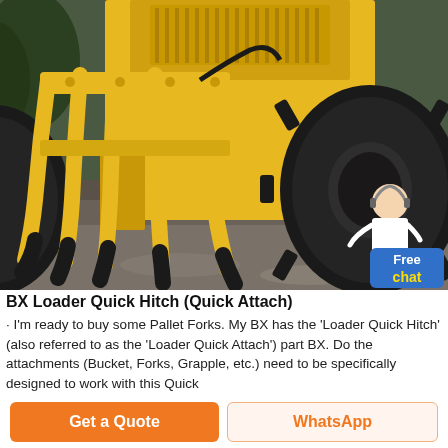[Figure (photo): Yellow construction loader/forklift machine with a multi-tine grapple attachment (4-5 curved yellow tines with black tips) in foreground, large black rubber tires visible, parked on dark gravel/pavement. A customer service representative icon and a blue 'Free chat' button overlay appear in the bottom-right corner of the photo.]
BX Loader Quick Hitch (Quick Attach)
· I'm ready to buy some Pallet Forks. My BX has the 'Loader Quick Hitch' (also referred to as the 'Loader Quick Attach') part BX. Do the attachments (Bucket, Forks, Grapple, etc.) need to be specifically designed to work with this Quick
[Figure (other): Get a Quote button (orange) and WhatsApp button (white with orange text) at the bottom of the page]